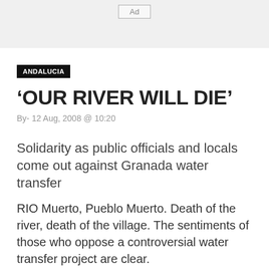Ad
ANDALUCIA
‘OUR RIVER WILL DIE’
By- 12 Aug, 2008 @ 10:20
Solidarity as public officials and locals come out against Granada water transfer
RIO Muerto, Pueblo Muerto. Death of the river, death of the village. The sentiments of those who oppose a controversial water transfer project are clear.